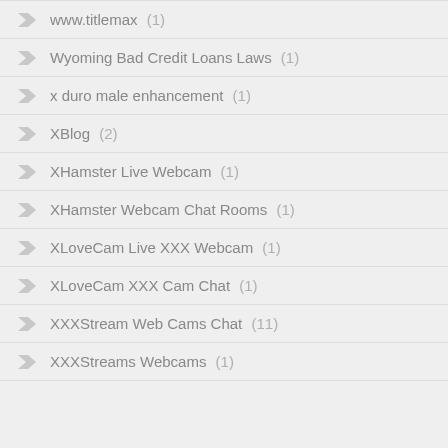www.titlemax (1)
Wyoming Bad Credit Loans Laws (1)
x duro male enhancement (1)
XBlog (2)
XHamster Live Webcam (1)
XHamster Webcam Chat Rooms (1)
XLoveCam Live XXX Webcam (1)
XLoveCam XXX Cam Chat (1)
XXXStream Web Cams Chat (11)
XXXStreams Webcams (1)